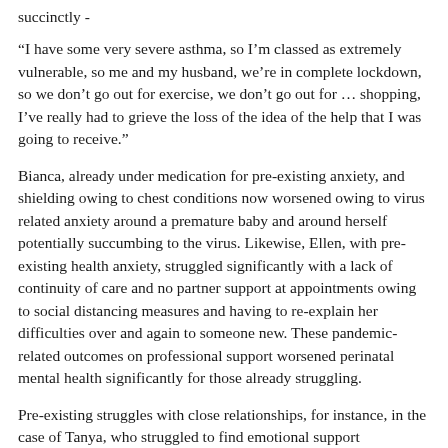succinctly -
“I have some very severe asthma, so I’m classed as extremely vulnerable, so me and my husband, we’re in complete lockdown, so we don’t go out for exercise, we don’t go out for … shopping, I’ve really had to grieve the loss of the idea of the help that I was going to receive.”
Bianca, already under medication for pre-existing anxiety, and shielding owing to chest conditions now worsened owing to virus related anxiety around a premature baby and around herself potentially succumbing to the virus. Likewise, Ellen, with pre-existing health anxiety, struggled significantly with a lack of continuity of care and no partner support at appointments owing to social distancing measures and having to re-explain her difficulties over and again to someone new. These pandemic-related outcomes on professional support worsened perinatal mental health significantly for those already struggling.
Pre-existing struggles with close relationships, for instance, in the case of Tanya, who struggled to find emotional support